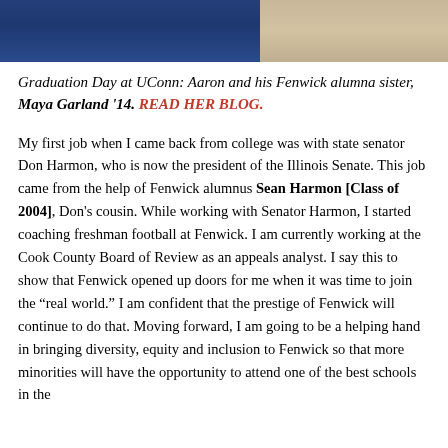[Figure (photo): Graduation day photo showing Aaron and his Fenwick alumna sister Maya Garland in graduation attire outdoors on grass]
Graduation Day at UConn: Aaron and his Fenwick alumna sister, Maya Garland '14. READ HER BLOG.
My first job when I came back from college was with state senator Don Harmon, who is now the president of the Illinois Senate. This job came from the help of Fenwick alumnus Sean Harmon [Class of 2004], Don's cousin. While working with Senator Harmon, I started coaching freshman football at Fenwick. I am currently working at the Cook County Board of Review as an appeals analyst. I say this to show that Fenwick opened up doors for me when it was time to join the “real world.” I am confident that the prestige of Fenwick will continue to do that. Moving forward, I am going to be a helping hand in bringing diversity, equity and inclusion to Fenwick so that more minorities will have the opportunity to attend one of the best schools in the